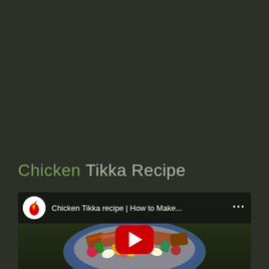Chicken Tikka Recipe
[Figure (screenshot): YouTube video thumbnail showing Chicken Tikka on skewers on a blue plate with vegetables, with a video player overlay showing channel icon, title 'Chicken Tikka recipe | How to Make...' and a red play button in center]